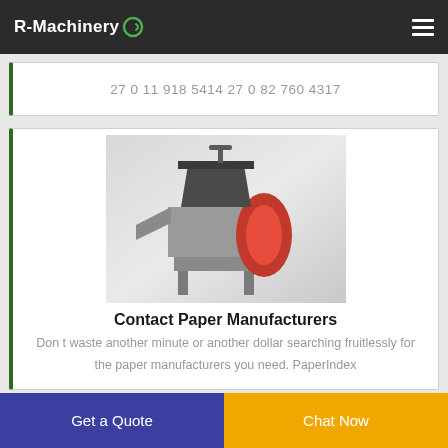R-Machinery
27 0 11 918 5414 27 0 82 760 4317
[Figure (photo): 3D render of an industrial plastic shredder / granulator machine with dark grey hopper on top, red side panel, and metal legs]
Contact Paper Manufacturers
Don t waste another minute or another dollar searching fruitlessly for the paper manufacturers you need. PaperIndex
Get a Quote
Chat Now